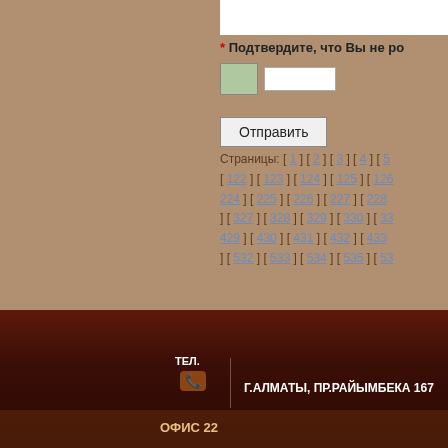* Подтвердите, что Вы не ро...
[Figure (screenshot): CAPTCHA image and input field with submit button]
Страницы: [ 1 ] [ 2 ] [ 3 ] [ 4 ] [ 5... [ 122 ] [ 123 ] [ 124 ] [ 125 ] [ 126... 224 ] [ 225 ] [ 226 ] [ 227 ] [ 228... ] [ 327 ] [ 328 ] [ 329 ] [ 330 ] [ 33... 429 ] [ 430 ] [ 431 ] [ 432 ] [ 433... ] [ 532 ] [ 533 ] [ 534 ] [ 535 ] [ 53...
8(727)233-06-49  ТЕЛ.  Г.АЛМАТЫ, ПР.РАЙЫМБЕКА 167  ОФИС 22